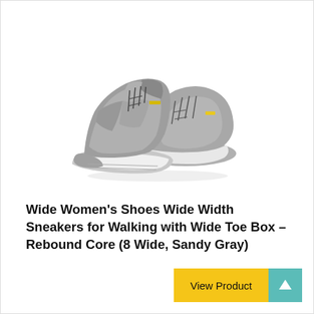[Figure (photo): A pair of gray wide-width women's sneakers (Rebound Core) with yellow accent details, white sole, shown from a side/angle view against a white background.]
Wide Women's Shoes Wide Width Sneakers for Walking with Wide Toe Box – Rebound Core (8 Wide, Sandy Gray)